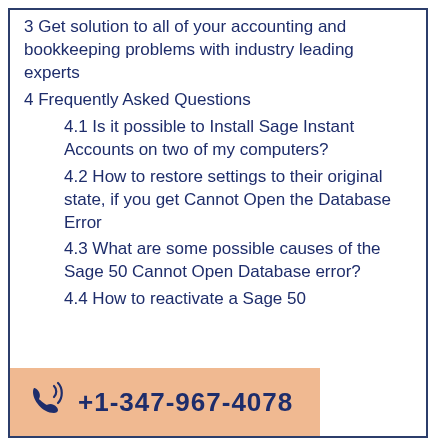3 Get solution to all of your accounting and bookkeeping problems with industry leading experts
4 Frequently Asked Questions
4.1 Is it possible to Install Sage Instant Accounts on two of my computers?
4.2 How to restore settings to their original state, if you get Cannot Open the Database Error
4.3 What are some possible causes of the Sage 50 Cannot Open Database error?
4.4 How to reactivate a Sage 50
+1-347-967-4078